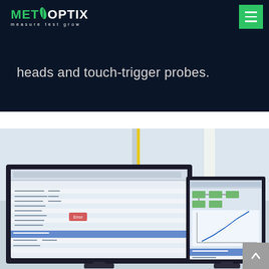METOPTIX — measure test grow
heads and touch-trigger probes.
[Figure (photo): Dual-monitor workstation displaying metrology/CMM software interface with data tables, flowcharts, and measurement graphs, set in a bright industrial or lab environment.]